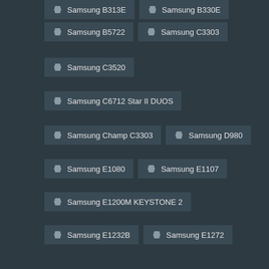Samsung B313E
Samsung B330E
Samsung B5722
Samsung C3303
Samsung C3520
Samsung C6712 Star II DUOS
Samsung Champ C3303
Samsung D980
Samsung E1080
Samsung E1107
Samsung E1200M KEYSTONE 2
Samsung E1232B
Samsung E1272
Samsung E2530
Samsung E2652 Champ Duos
Samsung GT-i8552 Galaxy Win
Samsung Galaxy A3 2016 A310
Samsung Galaxy A3 Duos